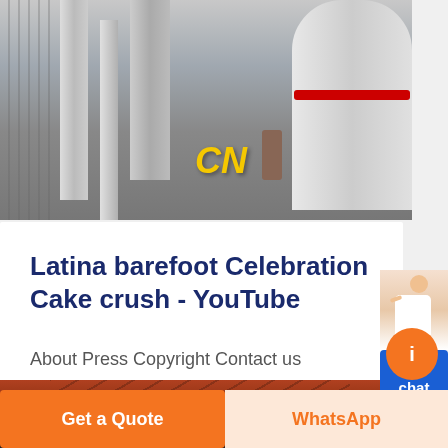[Figure (photo): Industrial machinery photo showing silos, pipes, scaffolding and CN logo in yellow]
Latina barefoot Celebration Cake crush - YouTube
About Press Copyright Contact us Creators Advertise Developers Terms Privacy Policy & Safety How YouTube works Test new features Press Copyright Contact us Creators ...
[Figure (photo): Bottom strip showing dark red industrial structure]
Free chat
Get a Quote
WhatsApp